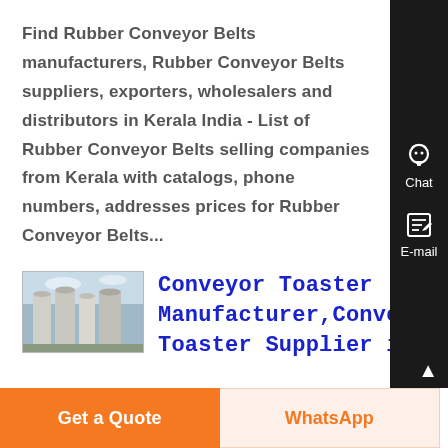Find Rubber Conveyor Belts manufacturers, Rubber Conveyor Belts suppliers, exporters, wholesalers and distributors in Kerala India - List of Rubber Conveyor Belts selling companies from Kerala with catalogs, phone numbers, addresses prices for Rubber Conveyor Belts...
[Figure (photo): Thumbnail image of industrial silos/storage tanks outdoors]
Conveyor Toaster Manufacturer,Conveyor Toaster Supplier in ,